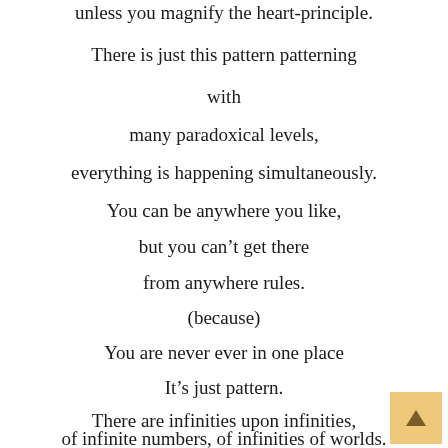unless you magnify the heart-principle.
There is just this pattern patterning
with
many paradoxical levels,
everything is happening simultaneously.
You can be anywhere you like,
but you can’t get there
from anywhere rules.
(because)
You are never ever in one place
It’s just pattern.
There are infinities upon infinities,
of infinite numbers, of infinities of worlds.